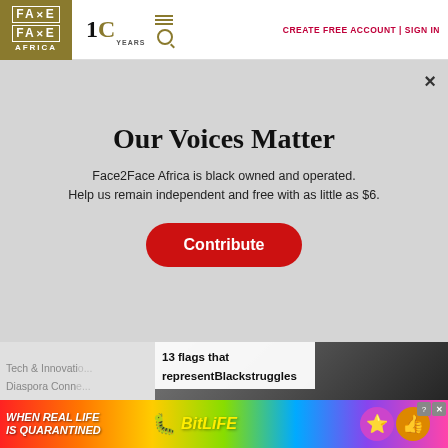Face2Face Africa | 10 YEARS | CREATE FREE ACCOUNT | SIGN IN
Our Voices Matter
Face2Face Africa is black owned and operated. Help us remain independent and free with as little as $6.
Contribute
Tech & Innovation
Diaspora Connections
[Figure (photo): Article thumbnail showing silhouetted figure, with overlay text: 13 flags that representBlackstruggles]
We use cookies to collect and analyse information on site performance and usage, and to enhance and customise content and advertising...
[Figure (illustration): BitLife advertisement banner: WHEN REAL LIFE IS QUARANTINED with colorful rainbow background, sperm icon, BitLife logo, and emoji character icons]